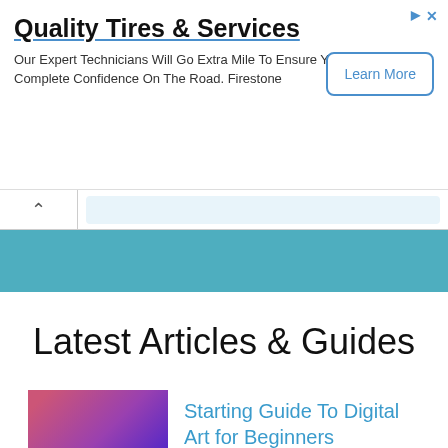[Figure (screenshot): Advertisement banner for Quality Tires & Services by Firestone with a Learn More button]
Quality Tires & Services
Our Expert Technicians Will Go Extra Mile To Ensure Your Complete Confidence On The Road. Firestone
[Figure (screenshot): Teal navigation/header stripe]
Latest Articles & Guides
[Figure (screenshot): Second teal stripe below the Latest Articles & Guides heading]
[Figure (illustration): Thumbnail image for Starting Guide To Digital Art for Beginners article, showing a hand drawing on purple background]
Starting Guide To Digital Art for Beginners